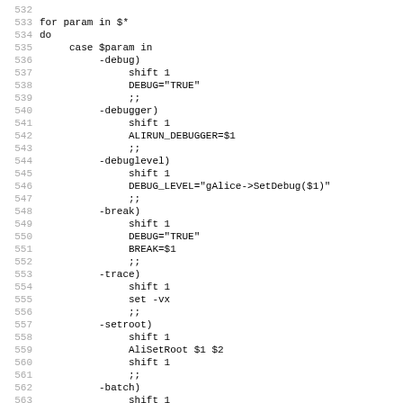Shell script code listing lines 532-563 showing a for-loop with case statement handling parameters: -debug, -debugger, -debuglevel, -break, -trace, -setroot, -batch